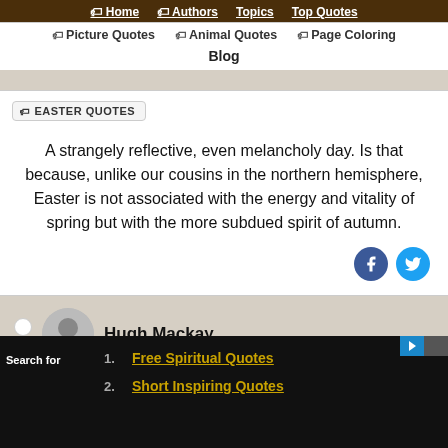Home | Authors | Topics | Top Quotes | Picture Quotes | Animal Quotes | Page Coloring | Blog
EASTER QUOTES
A strangely reflective, even melancholy day. Is that because, unlike our cousins in the northern hemisphere, Easter is not associated with the energy and vitality of spring but with the more subdued spirit of autumn.
Hugh Mackay
YEARS QUOTES
1. Free Spiritual Quotes
2. Short Inspiring Quotes
Search for